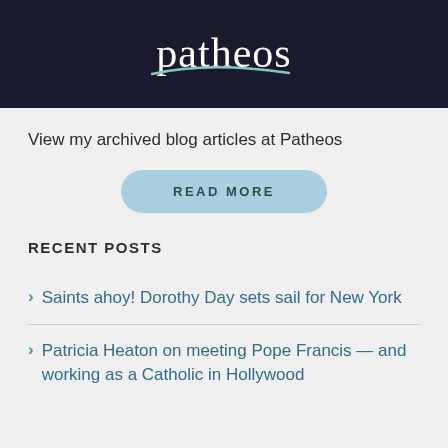[Figure (logo): Patheos logo — white text on dark background with teal swoosh underneath]
View my archived blog articles at Patheos
READ MORE
RECENT POSTS
Saints ahoy! Dorothy Day sets sail for New York
Patricia Heaton on meeting Pope Francis — and working as a Catholic in Hollywood